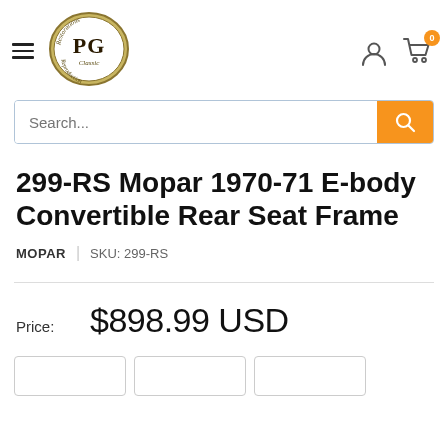[Figure (logo): PG Classic Restorations Reproduction oval logo in gold/olive tones]
299-RS Mopar 1970-71 E-body Convertible Rear Seat Frame
MOPAR | SKU: 299-RS
Price: $898.99 USD